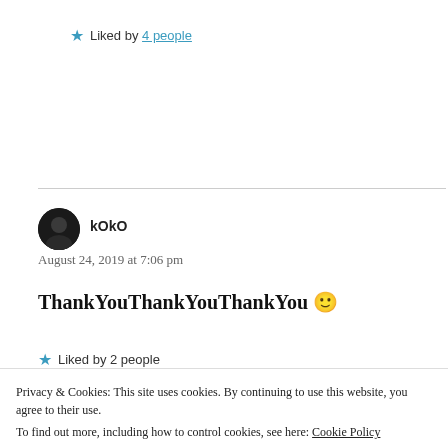★ Liked by 4 people
kOkO
August 24, 2019 at 7:06 pm
ThankYouThankYouThankYou 🙂
★ Liked by 2 people
Privacy & Cookies: This site uses cookies. By continuing to use this website, you agree to their use.
To find out more, including how to control cookies, see here: Cookie Policy
Close and accept